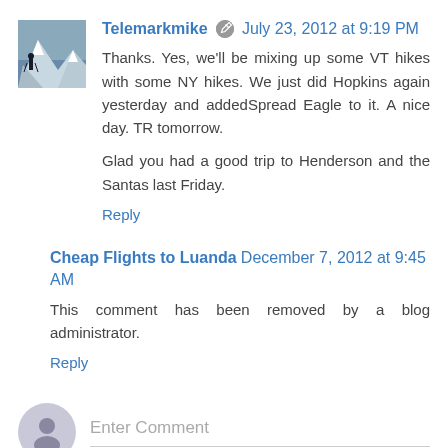Telemarkmike  July 23, 2012 at 9:19 PM
Thanks. Yes, we'll be mixing up some VT hikes with some NY hikes. We just did Hopkins again yesterday and addedSpread Eagle to it. A nice day. TR tomorrow.

Glad you had a good trip to Henderson and the Santas last Friday.
Reply
Cheap Flights to Luanda  December 7, 2012 at 9:45 AM
This comment has been removed by a blog administrator.
Reply
Enter Comment